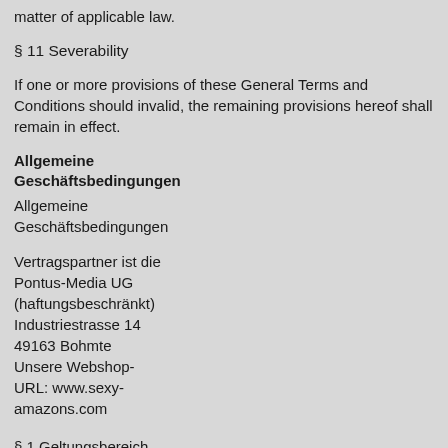matter of applicable law.
§ 11 Severability
If one or more provisions of these General Terms and Conditions should invalid, the remaining provisions hereof shall remain in effect.
Allgemeine Geschäftsbedingungen
Allgemeine Geschäftsbedingungen
Vertragspartner ist die Pontus-Media UG (haftungsbeschränkt) Industriestrasse 14 49163 Bohmte Unsere Webshop-URL: www.sexy-amazons.com
§ 1 Geltungsbereich
Alle Angebote, Kaufverträge, Lieferungen und